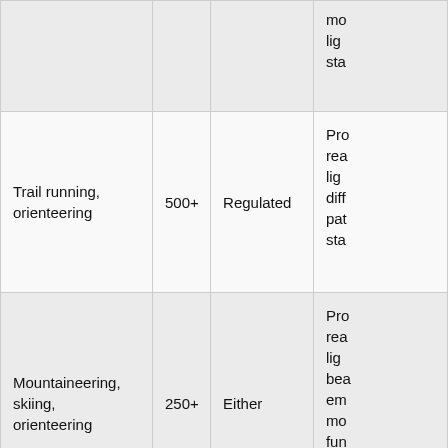|  |  |  | mo
lig
sta |
| Trail running, orienteering | 500+ | Regulated | Pro
rea
lig
diff
pat
sta |
| Mountaineering, skiing, orienteering | 250+ | Either | Pro
rea
lig
bea
em
mo
fun
lig
sta |
|  |  |  | Em |